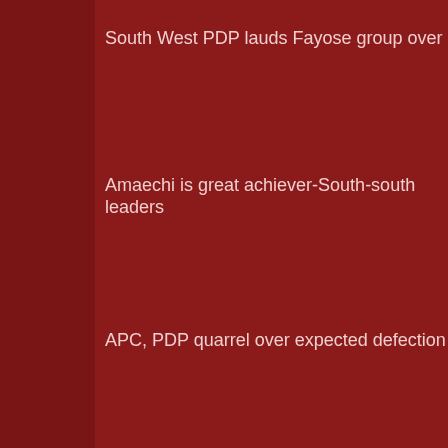South West PDP lauds Fayose group over decision to unite par
Amaechi is great achiever-South-south leaders
APC, PDP quarrel over expected defection
Tokyo 2020: Japan not cancelling Games, Hashimoto insists
Musa to play for free at Kano Pillars 'Dikko
Okagabre, Oduduru in action at Florida meet
I'm still Slavia Prague player 'Olayinka